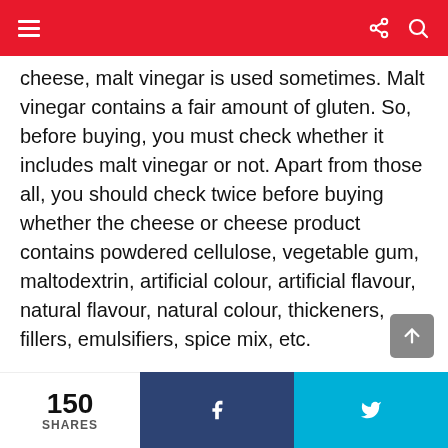Navigation bar with menu, share, and search icons
cheese, malt vinegar is used sometimes. Malt vinegar contains a fair amount of gluten. So, before buying, you must check whether it includes malt vinegar or not. Apart from those all, you should check twice before buying whether the cheese or cheese product contains powdered cellulose, vegetable gum, maltodextrin, artificial colour, artificial flavour, natural flavour, natural colour, thickeners, fillers, emulsifiers, spice mix, etc.
Difficulty of storage
150 SHARES  [Facebook share]  [Twitter share]